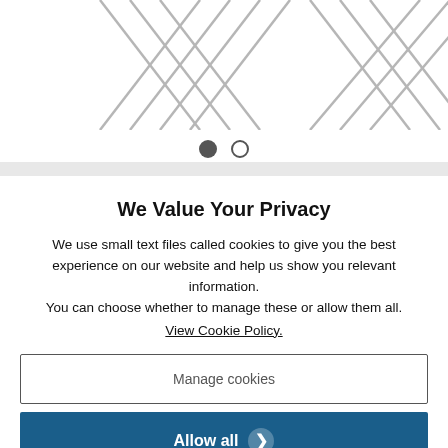[Figure (illustration): Top portion of a product or carousel image showing metal/gray crossing lines or strands, partially cropped]
[Figure (infographic): Carousel navigation dots: one filled dark dot and one empty circle dot]
We Value Your Privacy
We use small text files called cookies to give you the best experience on our website and help us show you relevant information.
You can choose whether to manage these or allow them all.
View Cookie Policy.
Manage cookies
Allow all